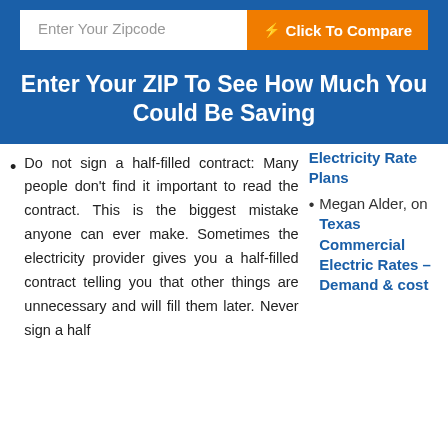Enter Your Zipcode | Click To Compare
Enter Your ZIP To See How Much You Could Be Saving
Do not sign a half-filled contract: Many people don't find it important to read the contract. This is the biggest mistake anyone can ever make. Sometimes the electricity provider gives you a half-filled contract telling you that other things are unnecessary and will fill them later. Never sign a half
Electricity Rate Plans
Megan Alder, on Texas Commercial Electric Rates – Demand & cost